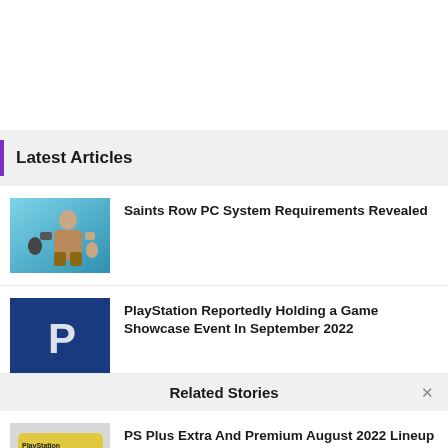Latest Articles
Saints Row PC System Requirements Revealed
PlayStation Reportedly Holding a Game Showcase Event In September 2022
Related Stories
PS Plus Extra And Premium August 2022 Lineup Includes Yakuza 0, Trials Of Mana, And More